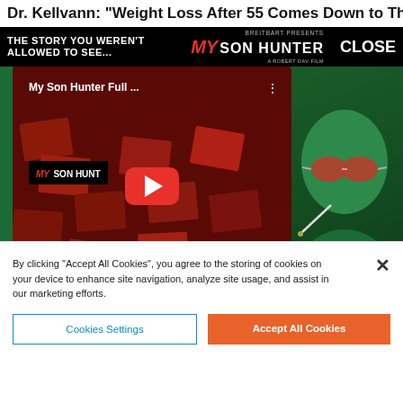Dr. Kellvann: "Weight Loss After 55 Comes Down to This
[Figure (screenshot): Breitbart Presents My Son Hunter movie advertisement banner showing YouTube video embed with play button, laptop mockup, green-tinted figure with red sunglasses, 'WATCH THE TRAILER', 'COMING SEPT 7', 'PRE-ORDER NOW' button, and mysonhunter.com URL. Header text: 'THE STORY YOU WEREN'T ALLOWED TO SEE...']
By clicking "Accept All Cookies", you agree to the storing of cookies on your device to enhance site navigation, analyze site usage, and assist in our marketing efforts.
Cookies Settings
Accept All Cookies